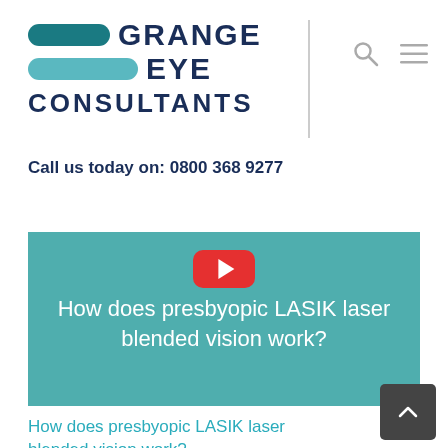[Figure (logo): Grange Eye Consultants logo with two pill/capsule shapes in teal colors next to the text 'GRANGE EYE CONSULTANTS' in dark navy, with a vertical divider line, and search/menu icons on the right]
Call us today on: 0800 368 9277
[Figure (screenshot): Video thumbnail with teal overlay showing text 'How does presbyopic LASIK laser blended vision work?' with a red YouTube play button at the top center]
How does presbyopic LASIK laser blended vision work?